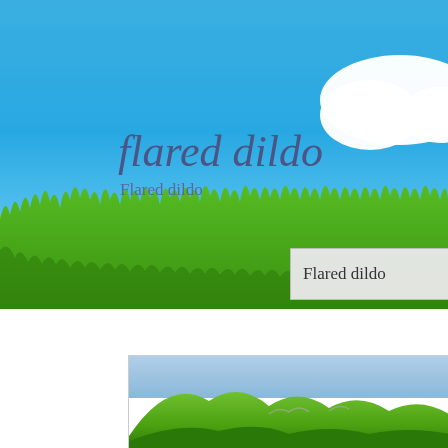[Figure (photo): Blue sky with white cloud and green grass strip at bottom — nature landscape background]
flared dildo
Flared dildo
Flared dildo
[Figure (photo): Green rolling hills landscape with blue sky — smaller thumbnail image]